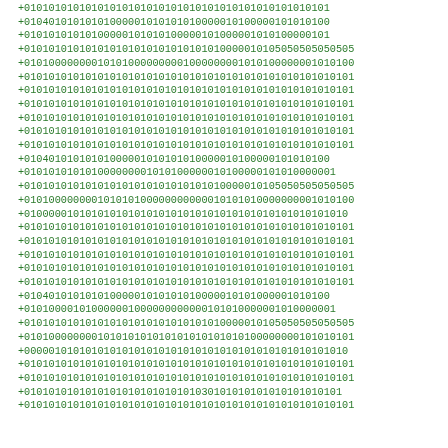+01010101010101010101010101010101010101010101010101
+01040101010101000001010101010000010100000101010100
+01010101010100000101010100000101000001010100000101
+01010101010101010101010101010101000010105050505050505
+01010000000101010000000010000000010101000000010101000
+010101010101010101010101010101010101010101010101010101
+010101010101010101010101010101010101010101010101010101
+010101010101010101010101010101010101010101010101010101
+010101010101010101010101010101010101010101010101010101
+010101010101010101010101010101010101010101010101010101
+010101010101010101010101010101010101010101010101010101
+01040101010101000001010101010000010100000101010100
+01010101010100000000101010000001010000010101000000101
+01010101010101010101010101010101000010105050505050505
+01010000000101010100000000000101010100000000101010000
+01000001010101010101010101010101010101010101010101010
+010101010101010101010101010101010101010101010101010101
+010101010101010101010101010101010101010101010101010101
+010101010101010101010101010101010101010101010101010101
+010101010101010101010101010101010101010101010101010101
+010101010101010101010101010101010101010101010101010101
+01040101010101000001010101010000010101000001010100
+01010000101000000100000000000010101000000101000000101
+01010101010101010101010101010101000010105050505050505
+01010000000101010101010101010101010100000000101010101
+00000101010101010101010101010101010101010101010101010
+010101010101010101010101010101010101010101010101010101
+010101010101010101010101010101010101010101010101010101
+0101010101010101010101010101030101010101010101010101
+010101010101010101010101010101010101010101010101010101